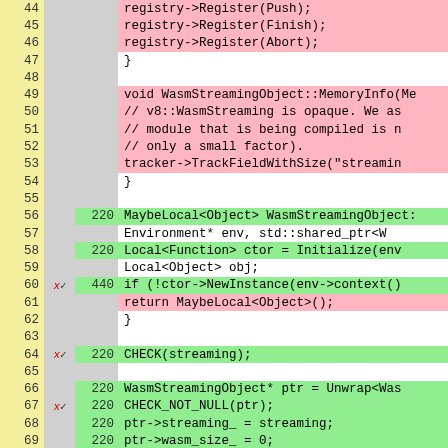[Figure (screenshot): Code coverage viewer showing C++ source lines 44-70 with line numbers, coverage markers, hit counts, and syntax-highlighted code. Pink background = uncovered lines, green background = covered lines, white = neutral.]